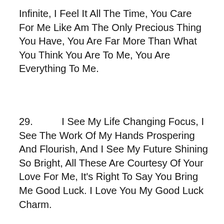Infinite, I Feel It All The Time, You Care For Me Like Am The Only Precious Thing You Have, You Are Far More Than What You Think You Are To Me, You Are Everything To Me.
29. I See My Life Changing Focus, I See The Work Of My Hands Prospering And Flourish, And I See My Future Shining So Bright, All These Are Courtesy Of Your Love For Me, It's Right To Say You Bring Me Good Luck. I Love You My Good Luck Charm.